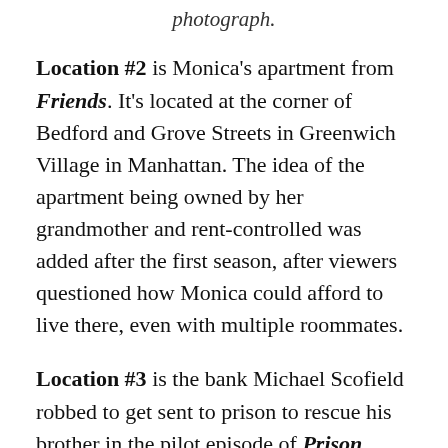photograph.
Location #2 is Monica's apartment from Friends. It's located at the corner of Bedford and Grove Streets in Greenwich Village in Manhattan. The idea of the apartment being owned by her grandmother and rent-controlled was added after the first season, after viewers questioned how Monica could afford to live there, even with multiple roommates.
Location #3 is the bank Michael Scofield robbed to get sent to prison to rescue his brother in the pilot episode of Prison Break. In real life, the building is the Ridgewood Savings Bank, located at 107-55 Queens Blvd. in Queens, New York.
Location #4 is Samantha and Darrin Stephens' house in Bewitched. Just for the record, my first celebrity crush was on Elizabeth Montgomery! The home is located at